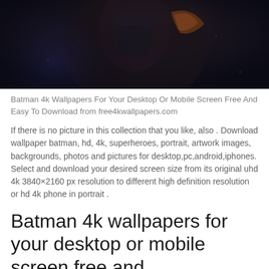[Figure (photo): Dark fantasy Batman artwork image showing Batman in armor against a dark moody background]
Batman 4k Wallpapers For Your Desktop Or Mobile Screen Free And Easy To Download from free4kwallpapers.com
If there is no picture in this collection that you like, also . Download wallpaper batman, hd, 4k, superheroes, portrait, artwork images, backgrounds, photos and pictures for desktop,pc,android,iphones. Select and download your desired screen size from its original uhd 4k 3840×2160 px resolution to different high definition resolution or hd 4k phone in portrait .
Batman 4k wallpapers for your desktop or mobile screen free and.